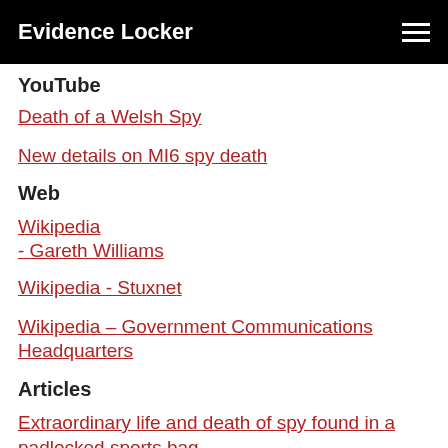Evidence Locker
YouTube
Death of a Welsh Spy
New details on MI6 spy death
Web
Wikipedia - Gareth Williams
Wikipedia - Stuxnet
Wikipedia – Government Communications Headquarters
Articles
Extraordinary life and death of spy found in a padlocked sports bag
MI6 spy Gareth Williams complained of friction at